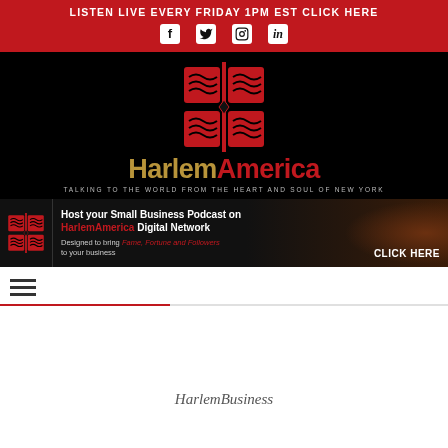LISTEN LIVE EVERY FRIDAY 1PM EST CLICK HERE
[Figure (logo): HarlemAmerica logo with stylized red tile icon, 'HarlemAmerica' wordmark in gold and red, tagline: TALKING TO THE WORLD FROM THE HEART AND SOUL OF NEW YORK]
[Figure (infographic): Ad banner: Host your Small Business Podcast on HarlemAmerica Digital Network. Designed to bring Fame, Fortune and Followers to your business. CLICK HERE]
≡
HarlemBusiness